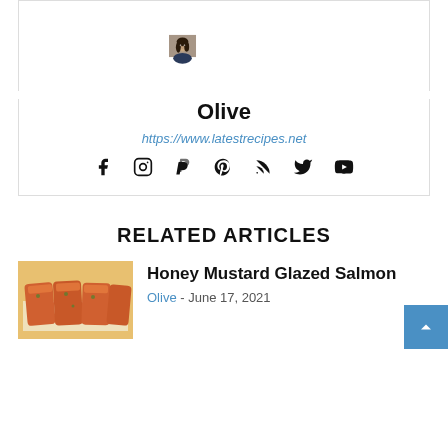[Figure (photo): Profile photo of Olive, a woman with dark hair]
Olive
https://www.latestrecipes.net
[Figure (infographic): Social media icons: Facebook, Instagram, PayPal, Pinterest, RSS, Twitter, YouTube]
RELATED ARTICLES
[Figure (photo): Photo of Honey Mustard Glazed Salmon pieces]
Honey Mustard Glazed Salmon
Olive - June 17, 2021